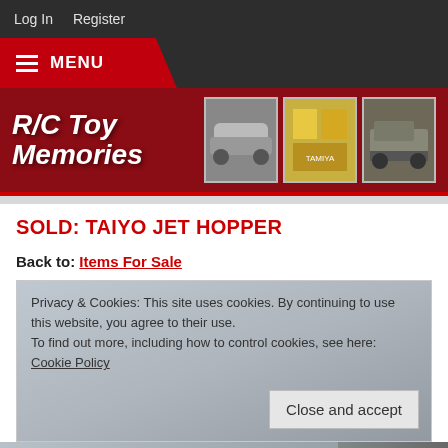Log In   Register
MENU
[Figure (screenshot): R/C Toy Memories website banner with logo and toy car photos]
SOLD: TAIYO JET HOPPER
Back to: Items For Sale
Privacy & Cookies: This site uses cookies. By continuing to use this website, you agree to their use.
To find out more, including how to control cookies, see here: Cookie Policy
Close and accept